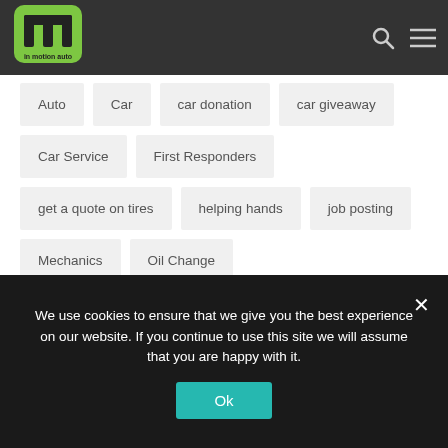[Figure (logo): In Motion Auto logo — green stylized 'M' shape with 'in motion auto' text below, on dark background]
Auto
Car
car donation
car giveaway
Car Service
First Responders
get a quote on tires
helping hands
job posting
Mechanics
Oil Change
We use cookies to ensure that we give you the best experience on our website. If you continue to use this site we will assume that you are happy with it.